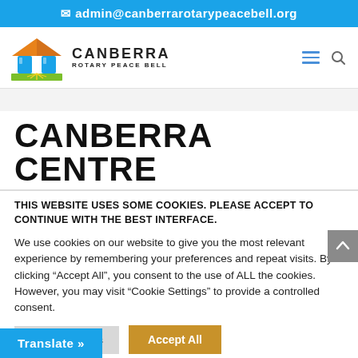✉ admin@canberrarotarypeacebell.org
[Figure (logo): Canberra Rotary Peace Bell logo with orange roof, blue bell shapes, green platform, and text 'CANBERRA ROTARY PEACE BELL']
CANBERRA CENTRE
THIS WEBSITE USES SOME COOKIES. PLEASE ACCEPT TO CONTINUE WITH THE BEST INTERFACE.
We use cookies on our website to give you the most relevant experience by remembering your preferences and repeat visits. By clicking "Accept All", you consent to the use of ALL the cookies. However, you may visit "Cookie Settings" to provide a controlled consent.
Cookie Settings | Accept All | Translate »